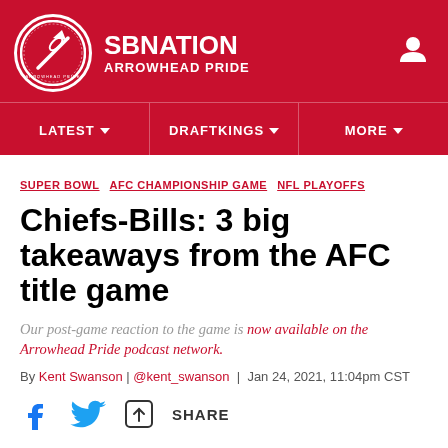SB NATION / ARROWHEAD PRIDE
LATEST  DRAFTKINGS  MORE
SUPER BOWL  AFC CHAMPIONSHIP GAME  NFL PLAYOFFS
Chiefs-Bills: 3 big takeaways from the AFC title game
Our post-game reaction to the game is now available on the Arrowhead Pride podcast network.
By Kent Swanson | @kent_swanson | Jan 24, 2021, 11:04pm CST
SHARE